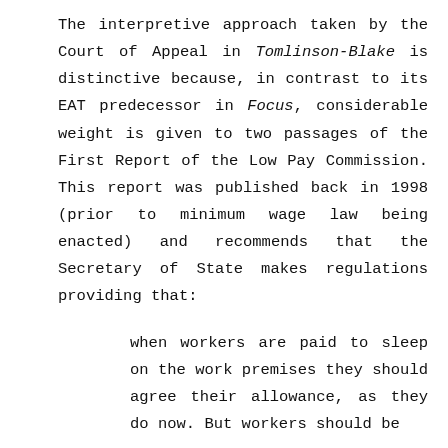The interpretive approach taken by the Court of Appeal in Tomlinson-Blake is distinctive because, in contrast to its EAT predecessor in Focus, considerable weight is given to two passages of the First Report of the Low Pay Commission. This report was published back in 1998 (prior to minimum wage law being enacted) and recommends that the Secretary of State makes regulations providing that:
when workers are paid to sleep on the work premises they should agree their allowance, as they do now. But workers should be entitled to the national minimum...